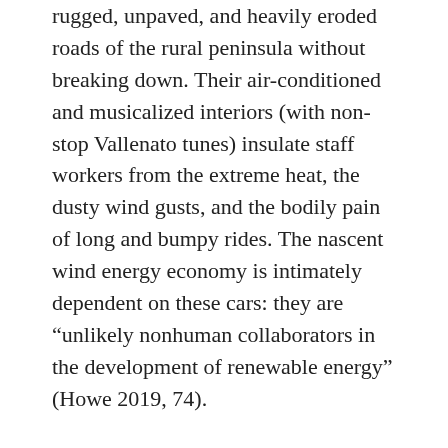rugged, unpaved, and heavily eroded roads of the rural peninsula without breaking down. Their air-conditioned and musicalized interiors (with non-stop Vallenato tunes) insulate staff workers from the extreme heat, the dusty wind gusts, and the bodily pain of long and bumpy rides. The nascent wind energy economy is intimately dependent on these cars: they are “unlikely nonhuman collaborators in the development of renewable energy” (Howe 2019, 74).
Toyotas embody the promise of prosperity, development, and the good life that is commonly attached to wind energy in Colombia. In fact, owning and driving a car for a wind energy company is a key source of income for many Wayúu and non-indigenous guajiros (as rental fees can go as high as US$135 per day). However, for NGOs, journalists, and indigenous leaders that are skeptical of the wind